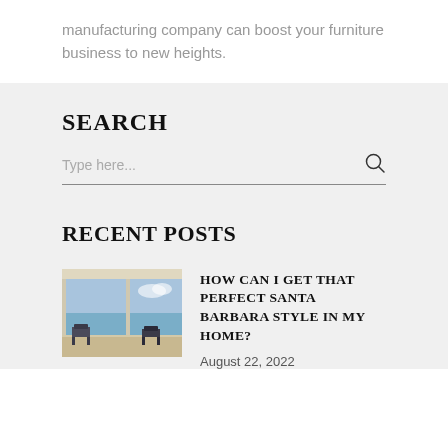manufacturing company can boost your furniture business to new heights.
SEARCH
Type here...
RECENT POSTS
[Figure (photo): Interior room with large windows overlooking ocean/beach, modern furniture, bright natural light]
HOW CAN I GET THAT PERFECT SANTA BARBARA STYLE IN MY HOME?
August 22, 2022